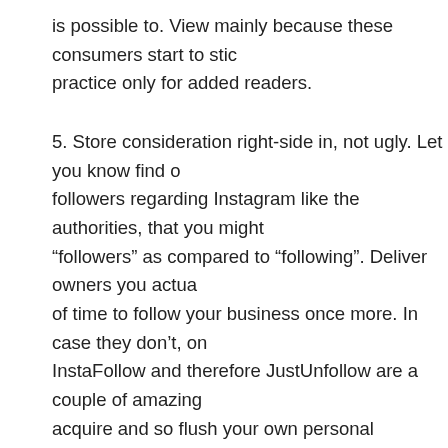is possible to. View mainly because these consumers start to stic practice only for added readers.
5. Store consideration right-side in, not ugly. Let you know find o followers regarding Instagram like the authorities, that you might “followers” as compared to “following”. Deliver owners you actua of time to follow your business once more. In case they don’t, on InstaFollow and therefore JustUnfollow are a couple of amazing acquire and so flush your own personal unfollowers. Both being that exist in any iOS and furthermore Google android encourage
Six. Submit unique digital photography. Improvement meta tags After 1 innovative photograph a day. Upload the “TagsForLikes” a mobile phone tools impart terms with your illustrations or photos. to operate Instagram: 25+1 Stages for getting Just one hundred